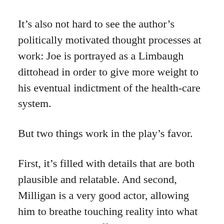It's also not hard to see the author's politically motivated thought processes at work: Joe is portrayed as a Limbaugh dittohead in order to give more weight to his eventual indictment of the health-care system.
But two things work in the play's favor.
First, it's filled with details that are both plausible and relatable. And second, Milligan is a very good actor, allowing him to breathe touching reality into what could have come off as a mere propaganda piece.
Will the Affordable Care Act, once it's fully implemented, come to redirect how the…